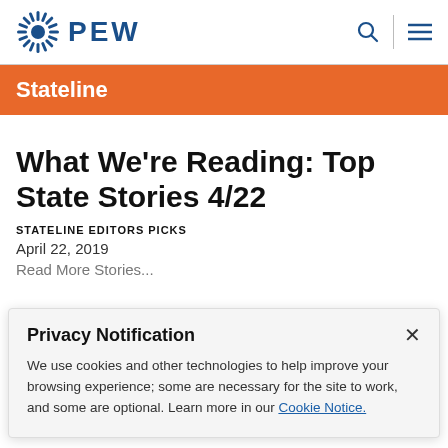PEW
Stateline
What We're Reading: Top State Stories 4/22
STATELINE EDITORS PICKS
April 22, 2019
Privacy Notification
We use cookies and other technologies to help improve your browsing experience; some are necessary for the site to work, and some are optional. Learn more in our Cookie Notice.